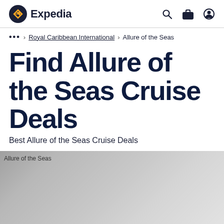Expedia
... > Royal Caribbean International > Allure of the Seas
Find Allure of the Seas Cruise Deals
Best Allure of the Seas Cruise Deals
[Figure (photo): Allure of the Seas ship image placeholder with gray gradient background]